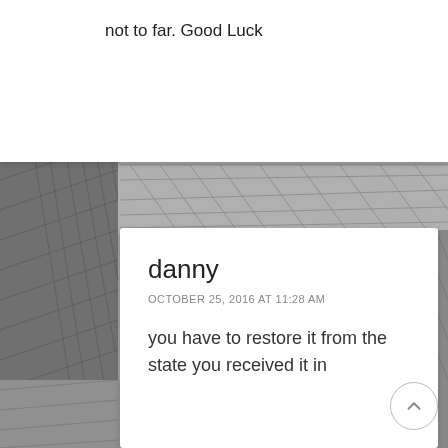not to far. Good Luck
danny
OCTOBER 25, 2016 AT 11:28 AM
you have to restore it from the state you received it in
Dan N
OCTOBER 9, 2016 AT 8:09 PM
I'm in the same situation...felon from